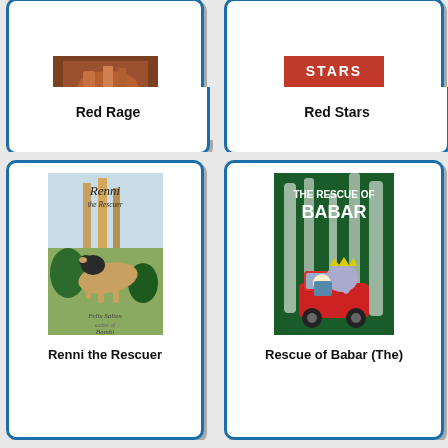[Figure (illustration): Book cover for Red Rage - partial view at top, showing dark/orange tones]
Red Rage
[Figure (illustration): Book cover for Red Stars by Davide Morosinotto - red title text on white background with red border]
Red Stars
[Figure (illustration): Book cover for Renni the Rescuer by Felix Salten - illustrated dog (black and tan) with plants, author of Bambi noted]
Renni the Rescuer
[Figure (illustration): Book cover for The Rescue of Babar - cartoon elephant driving a red jeep through dark forest with white trees]
Rescue of Babar (The)
[Figure (illustration): Partial book card at bottom left - cut off]
[Figure (illustration): Partial book card at bottom right - cut off]